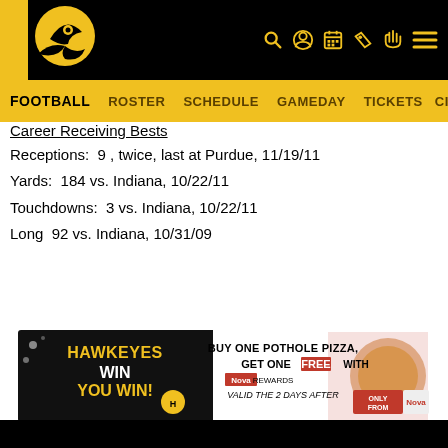Iowa Hawkeyes Athletics — FOOTBALL | ROSTER | SCHEDULE | GAMEDAY | TICKETS
Career Receiving Bests
Receptions:  9 , twice, last at Purdue, 11/19/11
Yards:  184 vs. Indiana, 10/22/11
Touchdowns:  3 vs. Indiana, 10/22/11
Long  92 vs. Indiana, 10/31/09
[Figure (infographic): Nova restaurant advertisement: HAWKEYES WIN YOU WIN! Buy one Pothole Pizza, get one FREE with Nova Rewards. Valid the 2 days after. Only from Nova.]